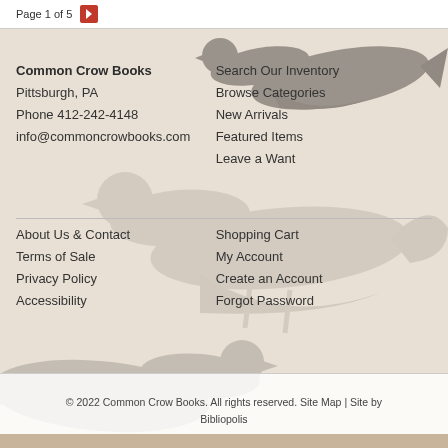Page 1 of 5
[Figure (illustration): Decorative crow/bird silhouettes on a tan/beige background forming the page footer background image]
Common Crow Books
Pittsburgh, PA
Phone 412-242-4148
info@commoncrowbooks.com
Search Our Inventory
Browse Categories
New Arrivals
Featured Items
Leave a Want
About Us & Contact
Terms of Sale
Privacy Policy
Accessibility
Shopping Cart
My Account
Create an Account
Forgot Password
© 2022 Common Crow Books. All rights reserved. Site Map | Site by Bibliopolis